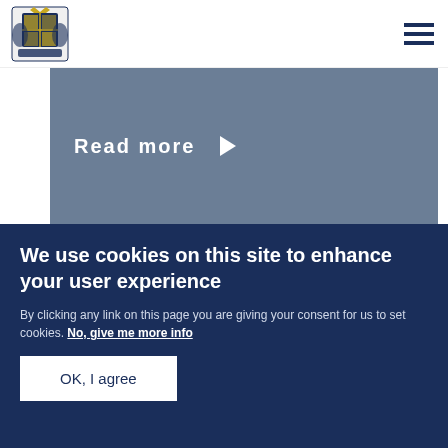[Royal Coat of Arms logo] [Hamburger menu]
Read more ▶
PRESS RELEASE   17 MAY 2015
Further details of the State Visit to Germany
We use cookies on this site to enhance your user experience
By clicking any link on this page you are giving your consent for us to set cookies. No, give me more info
OK, I agree